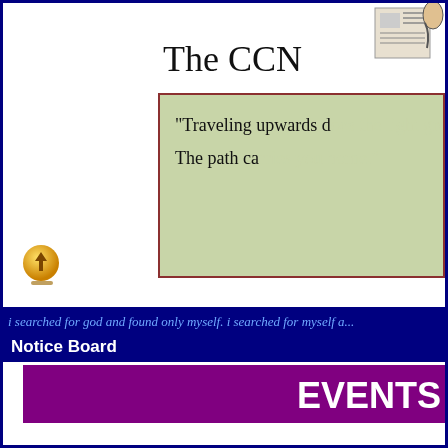The CCN
“Traveling upwards d… The path ca…
[Figure (illustration): Small black and white illustration of a figure, top-right corner]
[Figure (other): Yellow circular upload/submit button icon with upward arrow]
Notice Board
i searched for god and found only myself. i searched for myself a…
EVENTS